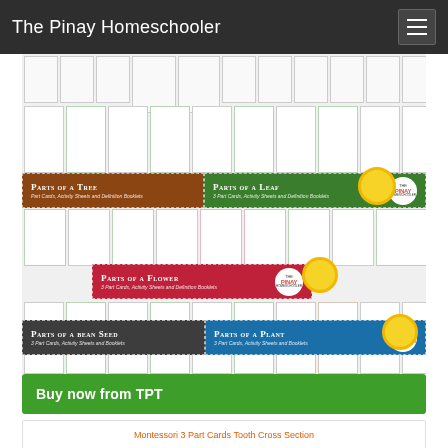The Pinay Homeschooler
[Figure (illustration): Collage of Montessori botany 3-part card sets including Parts of a Tree, Parts of a Leaf, Parts of a Flower, Parts of a Bean Seed, and Parts of a Plant, with scattered worksheet preview cards and colorful banner overlays.]
Buy now from TPT
Montessori 3 Part Cards Tooth Cross Section